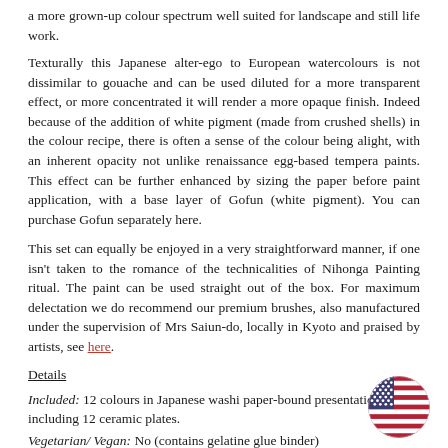a more grown-up colour spectrum well suited for landscape and still life work.
Texturally this Japanese alter-ego to European watercolours is not dissimilar to gouache and can be used diluted for a more transparent effect, or more concentrated it will render a more opaque finish. Indeed because of the addition of white pigment (made from crushed shells) in the colour recipe, there is often a sense of the colour being alight, with an inherent opacity not unlike renaissance egg-based tempera paints. This effect can be further enhanced by sizing the paper before paint application, with a base layer of Gofun (white pigment). You can purchase Gofun separately here.
This set can equally be enjoyed in a very straightforward manner, if one isn't taken to the romance of the technicalities of Nihonga Painting ritual. The paint can be used straight out of the box. For maximum delectation we do recommend our premium brushes, also manufactured under the supervision of Mrs Saiun-do, locally in Kyoto and praised by artists, see here.
Details
Included: 12 colours in Japanese washi paper-bound presentation box, including 12 ceramic plates.
Vegetarian/ Vegan: No (contains gelatine glue binder)
Non-toxic
[Figure (illustration): US flag circle badge in bottom right corner]